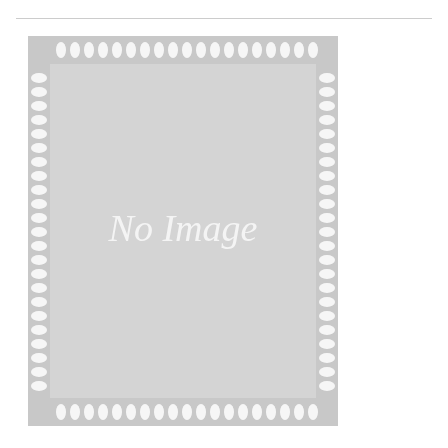[Figure (illustration): A placeholder certificate-style page with decorative border featuring repeating leaf/fleur-de-lis motif in white on light gray background, with 'No Image' text in italic script centered on the page. The border runs along all four edges. The overall background is light gray.]